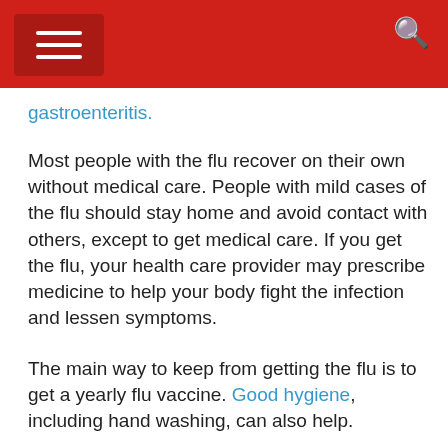[Navigation header with hamburger menu and search icon]
gastroenteritis.
Most people with the flu recover on their own without medical care. People with mild cases of the flu should stay home and avoid contact with others, except to get medical care. If you get the flu, your health care provider may prescribe medicine to help your body fight the infection and lessen symptoms.
The main way to keep from getting the flu is to get a yearly flu vaccine. Good hygiene, including hand washing, can also help.
NIH: National Institute of Allergy and Infectious Diseases